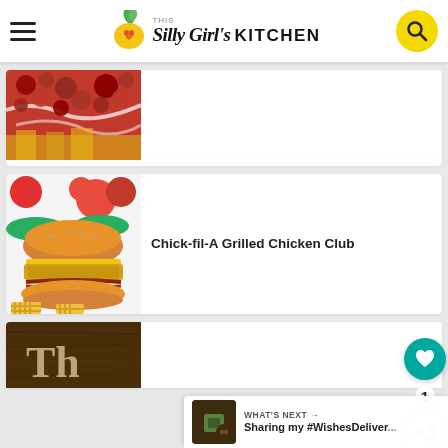This Silly Girl's KITCHEN
[Figure (photo): Partial view of a red berry/cranberry dessert dish]
[Figure (photo): Chick-fil-A Grilled Chicken Club sandwich with waffle fries, tomatoes, and lettuce]
Chick-fil-A Grilled Chicken Club
[Figure (photo): Partial view of a wooden board with text starting with 'Th']